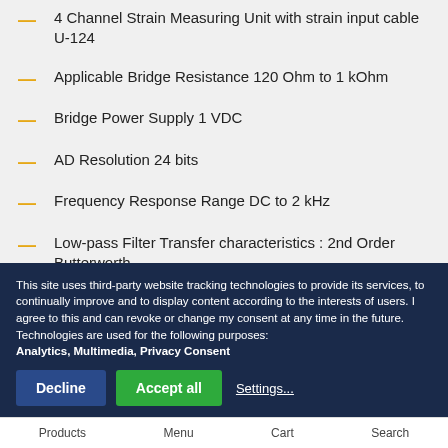4 Channel Strain Measuring Unit with strain input cable U-124
Applicable Bridge Resistance 120 Ohm to 1 kOhm
Bridge Power Supply 1 VDC
AD Resolution 24 bits
Frequency Response Range DC to 2 kHz
Low-pass Filter Transfer characteristics : 2nd Order Butterworth
This site uses third-party website tracking technologies to provide its services, to continually improve and to display content according to the interests of users. I agree to this and can revoke or change my consent at any time in the future. Technologies are used for the following purposes: Analytics, Multimedia, Privacy Consent
Products   Menu   Cart   Search